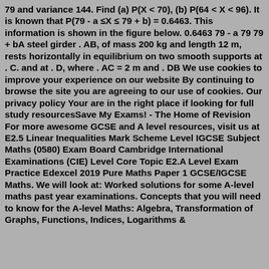79 and variance 144. Find (a) P(X < 70), (b) P(64 < X < 96). It is known that P(79 - a ≤X ≤ 79 + b) = 0.6463. This information is shown in the figure below. 0.6463 79 - a 79 79 + bA steel girder . AB, of mass 200 kg and length 12 m, rests horizontally in equilibrium on two smooth supports at . C. and at . D, where . AC = 2 m and . DB We use cookies to improve your experience on our website By continuing to browse the site you are agreeing to our use of cookies. Our privacy policy Your are in the right place if looking for full study resourcesSave My Exams! - The Home of Revision For more awesome GCSE and A level resources, visit us at E2.5 Linear Inequalities Mark Scheme Level IGCSE Subject Maths (0580) Exam Board Cambridge International Examinations (CIE) Level Core Topic E2.A Level Exam Practice Edexcel 2019 Pure Maths Paper 1 GCSE/IGCSE Maths. We will look at: Worked solutions for some A-level maths past year examinations. Concepts that you will need to know for the A-level Maths: Algebra, Transformation of Graphs, Functions, Indices, Logarithms &